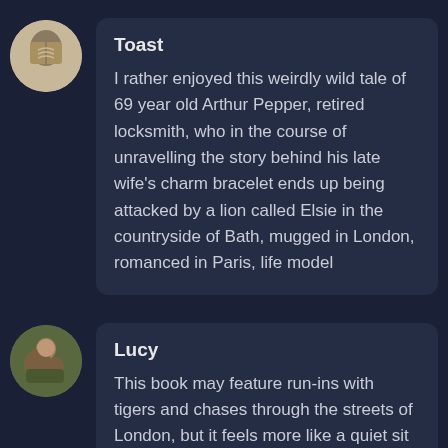Toast
I rather enjoyed this weirdly wild tale of 69 year old Arthur Pepper, retired locksmith, who in the course of unravelling the story behind his late wife's charm bracelet ends up being attacked by a lion called Elsie in the countryside of Bath, mugged in London, romanced in Paris, life model
Lucy
This book may feature run-ins with tigers and chases through the streets of London, but it feels more like a quiet sit down with a cup of tea and the loving company of old friends.Itâs a sweet, sentimental and a delicate exploration of grief, memory and identity, shown through the eyes of